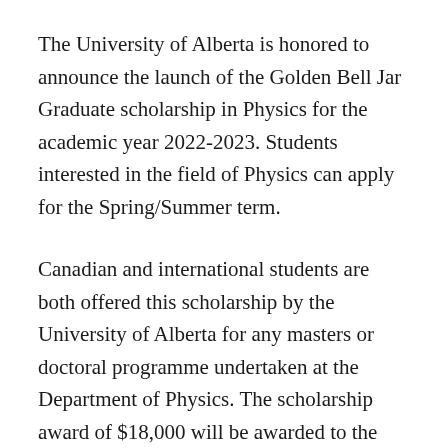The University of Alberta is honored to announce the launch of the Golden Bell Jar Graduate scholarship in Physics for the academic year 2022-2023. Students interested in the field of Physics can apply for the Spring/Summer term.
Canadian and international students are both offered this scholarship by the University of Alberta for any masters or doctoral programme undertaken at the Department of Physics. The scholarship award of $18,000 will be awarded to the selected candidates for up to 3 years of study.
Aim and Benefits of University